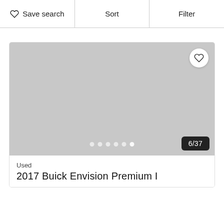Save search | Sort | Filter
[Figure (photo): Gray placeholder image for a 2017 Buick Envision Premium I vehicle listing, showing photo 6 of 37, with a heart/favorite button and dot navigation indicators]
Used
2017 Buick Envision Premium I